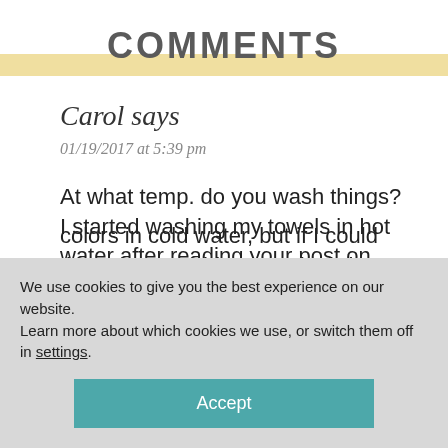COMMENTS
Carol says
01/19/2017 at 5:39 pm
At what temp. do you wash things? I started washing my towels in hot water after reading your post on stinky towels. I never
We use cookies to give you the best experience on our website.
Learn more about which cookies we use, or switch them off in settings.
Accept
colors in cold water, but if I could throw in everything together, that would be great.